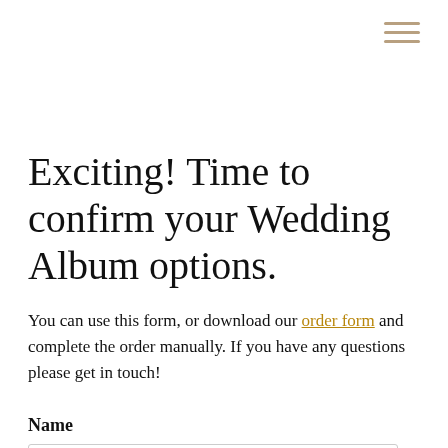[Figure (other): Hamburger menu icon with three horizontal lines in tan/gold color, positioned in top-right corner]
Exciting!  Time to confirm your Wedding Album options.
You can use this form, or download our order form and complete the order manually. If you have any questions please get in touch!
Name
[Figure (other): Empty text input field with light grey border]